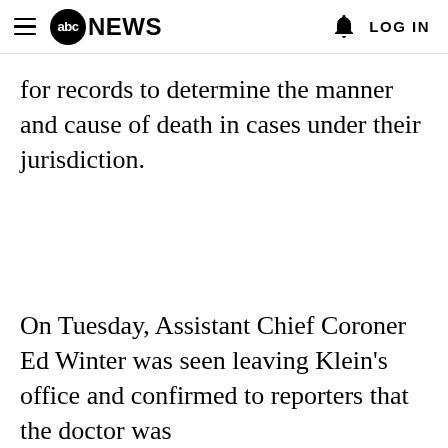abc NEWS  LOG IN
for records to determine the manner and cause of death in cases under their jurisdiction.
On Tuesday, Assistant Chief Coroner Ed Winter was seen leaving Klein's office and confirmed to reporters that the doctor was